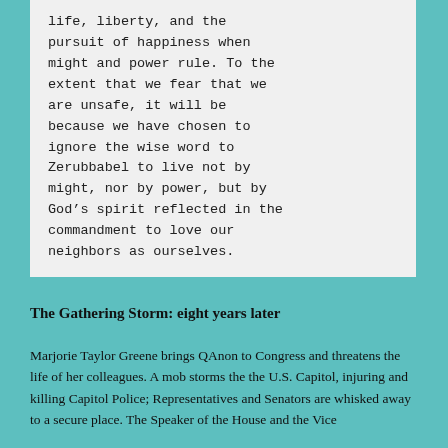life, liberty, and the pursuit of happiness when might and power rule. To the extent that we fear that we are unsafe, it will be because we have chosen to ignore the wise word to Zerubbabel to live not by might, nor by power, but by God’s spirit reflected in the commandment to love our neighbors as ourselves.
The Gathering Storm: eight years later
Marjorie Taylor Greene brings QAnon to Congress and threatens the life of her colleagues. A mob storms the the U.S. Capitol, injuring and killing Capitol Police; Representatives and Senators are whisked away to a secure place. The Speaker of the House and the Vice